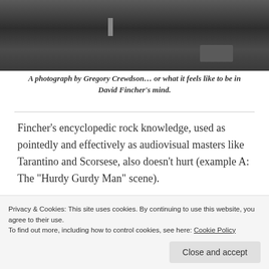[Figure (photo): A dark photograph showing a wet parking lot or garage floor with reflections, a figure standing in the background, and a vehicle visible in the distance.]
A photograph by Gregory Crewdson… or what it feels like to be in David Fincher’s mind.
Fincher’s encyclopedic rock knowledge, used as pointedly and effectively as audiovisual masters like Tarantino and Scorsese, also doesn’t hurt (example A: The “Hurdy Gurdy Man” scene).
Privacy & Cookies: This site uses cookies. By continuing to use this website, you agree to their use.
To find out more, including how to control cookies, see here: Cookie Policy